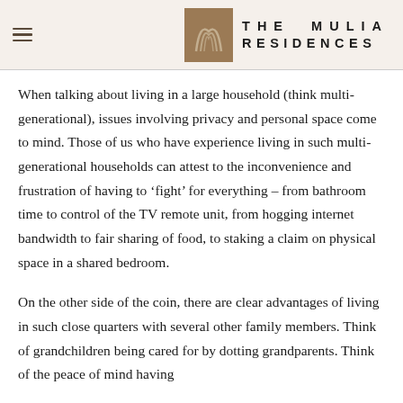THE MULIA RESIDENCES
When talking about living in a large household (think multi-generational), issues involving privacy and personal space come to mind. Those of us who have experience living in such multi-generational households can attest to the inconvenience and frustration of having to ‘fight’ for everything – from bathroom time to control of the TV remote unit, from hogging internet bandwidth to fair sharing of food, to staking a claim on physical space in a shared bedroom.
On the other side of the coin, there are clear advantages of living in such close quarters with several other family members. Think of grandchildren being cared for by dotting grandparents. Think of the peace of mind having...